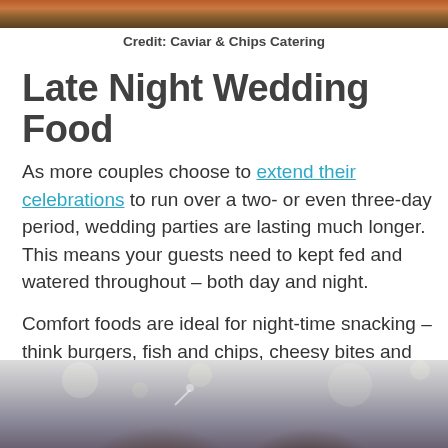[Figure (photo): Top portion of a food/catering photo, cropped at the top of the page]
Credit: Caviar & Chips Catering
Late Night Wedding Food
As more couples choose to extend their celebrations to run over a two- or even three-day period, wedding parties are lasting much longer. This means your guests need to kept fed and watered throughout – both day and night.
Comfort foods are ideal for night-time snacking – think burgers, fish and chips, cheesy bites and sliders. Add a mix of sweet treats to balance out the savoury nibbles to keep energy levels high.
[Figure (photo): Photo of wedding guests celebrating, toasting with glasses, people in the background with bokeh lighting]